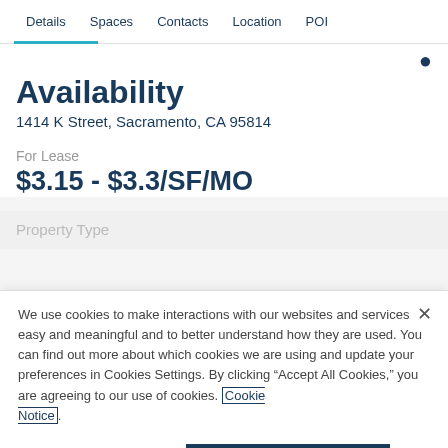Details  Spaces  Contacts  Location  POI
Availability
1414 K Street, Sacramento, CA 95814
For Lease
$3.15 - $3.3/SF/MO
Property Type
We use cookies to make interactions with our websites and services easy and meaningful and to better understand how they are used. You can find out more about which cookies we are using and update your preferences in Cookies Settings. By clicking "Accept All Cookies," you are agreeing to our use of cookies. Cookie Notice.
Cookies Settings    Accept All Cookies